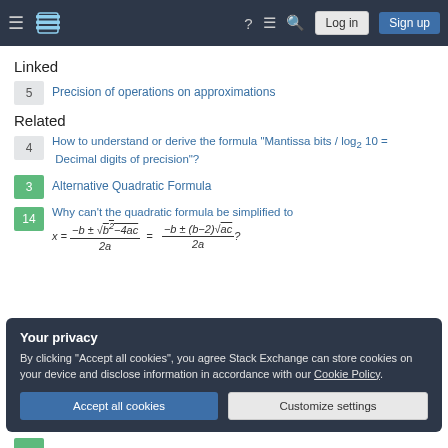Stack Exchange navigation bar with Log in and Sign up buttons
Linked
5  Precision of operations on approximations
Related
4  How to understand or derive the formula "Mantissa bits / log₂ 10 = Decimal digits of precision"?
3  Alternative Quadratic Formula
14  Why can't the quadratic formula be simplified to x = (−b ± √(b²−4ac)) / 2a = (−b ± (b−2)√ac) / 2a ?
Your privacy
By clicking "Accept all cookies", you agree Stack Exchange can store cookies on your device and disclose information in accordance with our Cookie Policy.
Accept all cookies   Customize settings